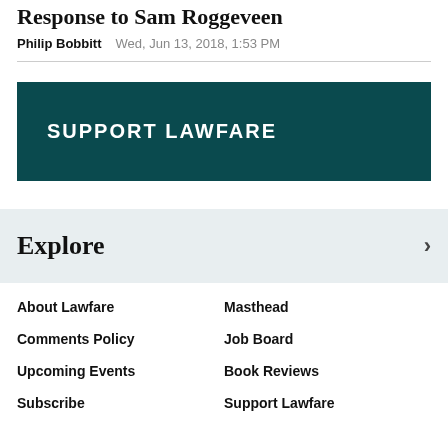Response to Sam Roggeveen
Philip Bobbitt   Wed, Jun 13, 2018, 1:53 PM
[Figure (infographic): Teal/dark green banner with white bold uppercase text reading SUPPORT LAWFARE]
Explore
About Lawfare
Masthead
Comments Policy
Job Board
Upcoming Events
Book Reviews
Subscribe
Support Lawfare